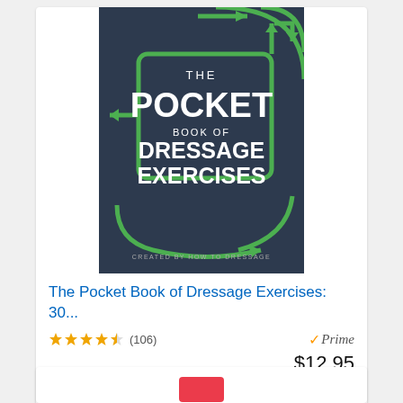[Figure (illustration): Book cover of 'The Pocket Book of Dressage Exercises' with dark navy background, green arrow graphics, and white text. Created by How To Dressage.]
The Pocket Book of Dressage Exercises: 30...
★★★★☆ (106)  ✓Prime  $12.95
Buy on Amazon